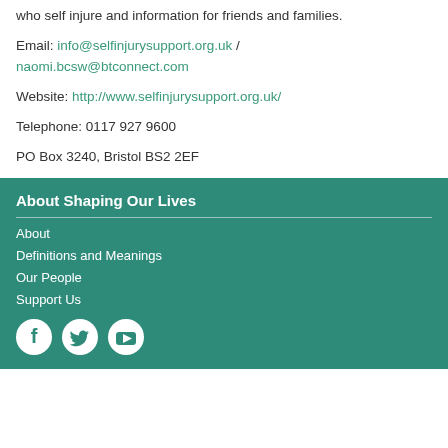who self injure and information for friends and families.
Email: info@selfinjurysupport.org.uk / naomi.bcsw@btconnect.com
Website: http://www.selfinjurysupport.org.uk/
Telephone: 0117 927 9600
PO Box 3240, Bristol BS2 2EF
About Shaping Our Lives
About
Definitions and Meanings
Our People
Support Us
[Figure (other): Social media icons: Facebook, Twitter, YouTube]